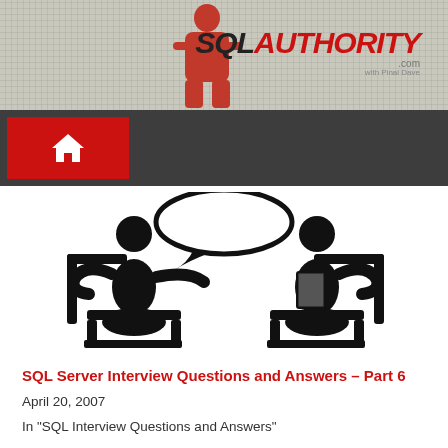[Figure (logo): SQL Authority website banner with person silhouette and logo text]
[Figure (illustration): Two stick figures sitting in chairs facing each other in an interview setting, with a speech bubble above the left figure]
SQL Server Interview Questions and Answers – Part 6
April 20, 2007
In "SQL Interview Questions and Answers"